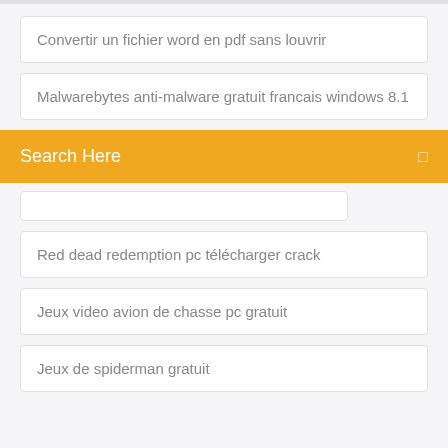Convertir un fichier word en pdf sans louvrir
Malwarebytes anti-malware gratuit francais windows 8.1
Search Here
Red dead redemption pc télécharger crack
Jeux video avion de chasse pc gratuit
Jeux de spiderman gratuit